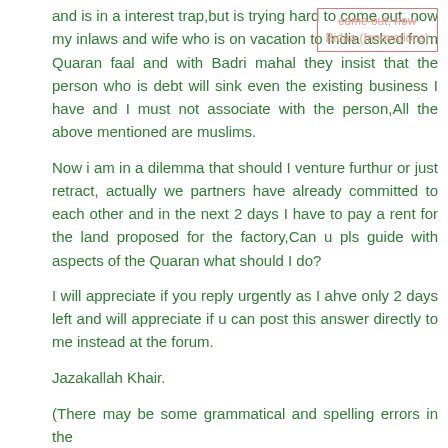and is in a interest trap,but is trying hard to come out, now my inlaws and wife who is on vacation to India asked from Quaran faal and with Badri mahal they insist that the person who is debt will sink even the existing business I have and I must not associate with the person,All the above mentioned are muslims.
Now i am in a dilemma that should I venture furthur or just retract, actually we partners have already committed to each other and in the next 2 days I have to pay a rent for the land proposed for the factory,Can u pls guide with aspects of the Quaran what should I do?
I will appreciate if you reply urgently as I ahve only 2 days left and will appreciate if u can post this answer directly to me instead at the forum.
Jazakallah Khair.
(There may be some grammatical and spelling errors in the
[Figure (other): Watermark/label box reading 'Bidaa (Innovations)' with red/pink border]